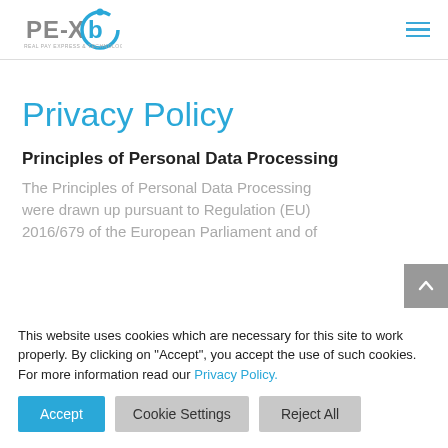[Figure (logo): PE-XB logo with stylized blue circular icon on the left and hamburger menu icon on the right]
Privacy Policy
Principles of Personal Data Processing
The Principles of Personal Data Processing were drawn up pursuant to Regulation (EU) 2016/679 of the European Parliament and of
This website uses cookies which are necessary for this site to work properly. By clicking on "Accept", you accept the use of such cookies. For more information read our Privacy Policy.
Accept | Cookie Settings | Reject All